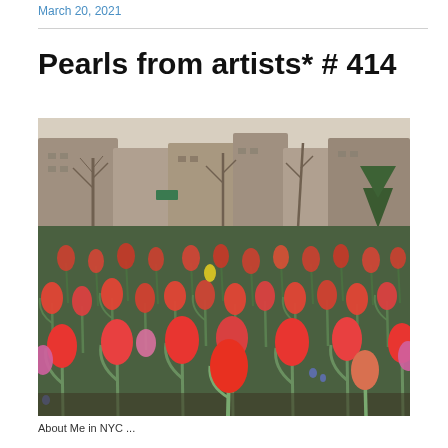March 20, 2021
Pearls from artists* # 414
[Figure (photo): A field of red and pink tulips in full bloom in an urban park, with trees and apartment buildings visible in the background. The foreground is filled with vivid red-orange and pink tulip flowers with green stems and leaves. The background shows bare winter trees, a few evergreens, and city buildings under a clear sky.]
About Me in NYC ...